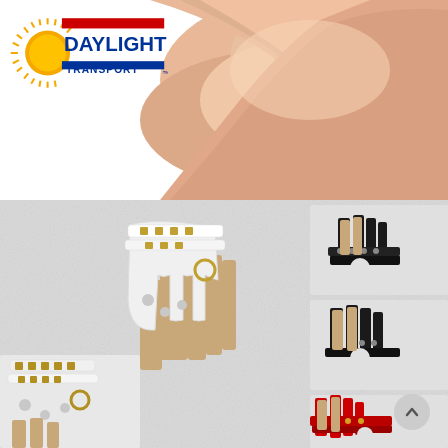[Figure (logo): Daylight Transport logo with sun graphic and red/blue text]
[Figure (photo): Close-up photo of a person's bare arm/shoulder area on white background]
[Figure (photo): Product photo collage of studded fingerless gloves in white, black, and red colors on a light textured background, displayed on mannequin hands]